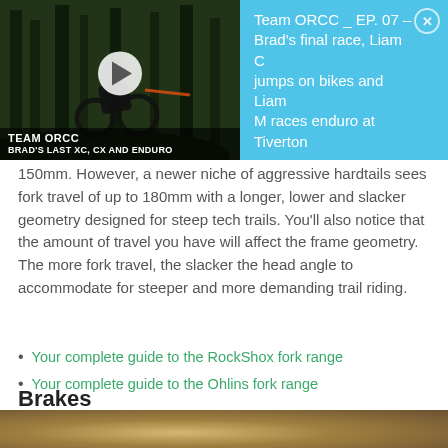[Figure (screenshot): Video banner with a mountain biker thumbnail on the left and a cyan info panel on the right. Thumbnail shows 'TEAM ORCC / BRAD'S LAST XC, CX AND ENDURO'. Info panel reads: 'Team ORCC _ EP. 07 – Brad's final race, Liam C jumps on bikes and Liam M races enduro at Tiverton'.]
150mm. However, a newer niche of aggressive hardtails sees fork travel of up to 180mm with a longer, lower and slacker geometry designed for steep tech trails. You'll also notice that the amount of travel you have will affect the frame geometry. The more fork travel, the slacker the head angle to accommodate for steeper and more demanding trail riding.
Your complete guide to the RockShox fork range
Your complete guide to the Ohlins fork range
Brakes
[Figure (photo): Partial bottom image showing a blurred brown/tan outdoor scene, likely a trail or dirt ground.]